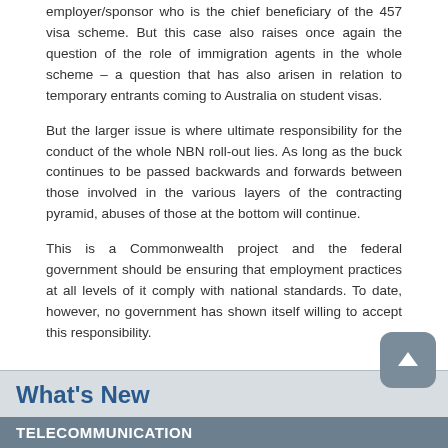employer/sponsor who is the chief beneficiary of the 457 visa scheme. But this case also raises once again the question of the role of immigration agents in the whole scheme – a question that has also arisen in relation to temporary entrants coming to Australia on student visas.
But the larger issue is where ultimate responsibility for the conduct of the whole NBN roll-out lies. As long as the buck continues to be passed backwards and forwards between those involved in the various layers of the contracting pyramid, abuses of those at the bottom will continue.
This is a Commonwealth project and the federal government should be ensuring that employment practices at all levels of it comply with national standards. To date, however, no government has shown itself willing to accept this responsibility.
What's New
TELECOMMUNICATION